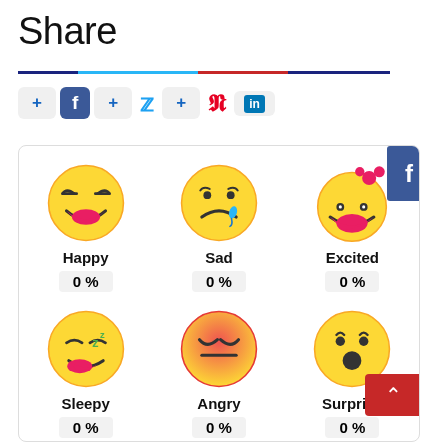Share
[Figure (infographic): Social share bar with Facebook, Twitter, Pinterest, LinkedIn buttons and a colored divider line]
[Figure (infographic): Emoji reaction grid showing Happy (0%), Sad (0%), Excited (0%), Sleepy, Angry, Surprise emojis with percentages, inside a bordered card. Facebook floating button on right. Red scroll-to-top button.]